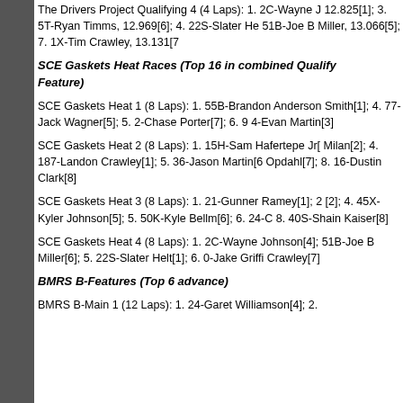The Drivers Project Qualifying 4 (4 Laps): 1. 2C-Wayne J 12.825[1]; 3. 5T-Ryan Timms, 12.969[6]; 4. 22S-Slater He 51B-Joe B Miller, 13.066[5]; 7. 1X-Tim Crawley, 13.131[7
SCE Gaskets Heat Races (Top 16 in combined Qualify Feature)
SCE Gaskets Heat 1 (8 Laps): 1. 55B-Brandon Anderson Smith[1]; 4. 77-Jack Wagner[5]; 5. 2-Chase Porter[7]; 6. 9 4-Evan Martin[3]
SCE Gaskets Heat 2 (8 Laps): 1. 15H-Sam Hafertepe Jr[ Milan[2]; 4. 187-Landon Crawley[1]; 5. 36-Jason Martin[6 Opdahl[7]; 8. 16-Dustin Clark[8]
SCE Gaskets Heat 3 (8 Laps): 1. 21-Gunner Ramey[1]; 2 [2]; 4. 45X-Kyler Johnson[5]; 5. 50K-Kyle Bellm[6]; 6. 24-C 8. 40S-Shain Kaiser[8]
SCE Gaskets Heat 4 (8 Laps): 1. 2C-Wayne Johnson[4]; 51B-Joe B Miller[6]; 5. 22S-Slater Helt[1]; 6. 0-Jake Griffi Crawley[7]
BMRS B-Features (Top 6 advance)
BMRS B-Main 1 (12 Laps): 1. 24-Garet Williamson[4]; 2.